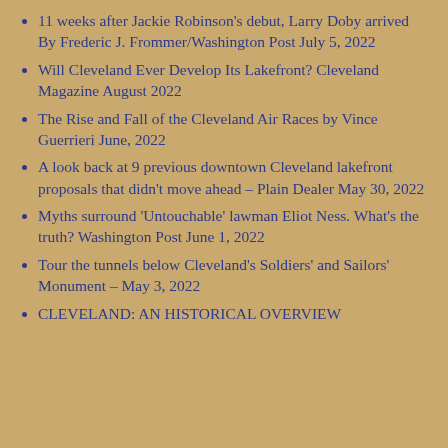11 weeks after Jackie Robinson's debut, Larry Doby arrived By Frederic J. Frommer/Washington Post July 5, 2022
Will Cleveland Ever Develop Its Lakefront? Cleveland Magazine August 2022
The Rise and Fall of the Cleveland Air Races by Vince Guerrieri June, 2022
A look back at 9 previous downtown Cleveland lakefront proposals that didn't move ahead – Plain Dealer May 30, 2022
Myths surround 'Untouchable' lawman Eliot Ness. What's the truth? Washington Post June 1, 2022
Tour the tunnels below Cleveland's Soldiers' and Sailors' Monument – May 3, 2022
CLEVELAND: AN HISTORICAL OVERVIEW